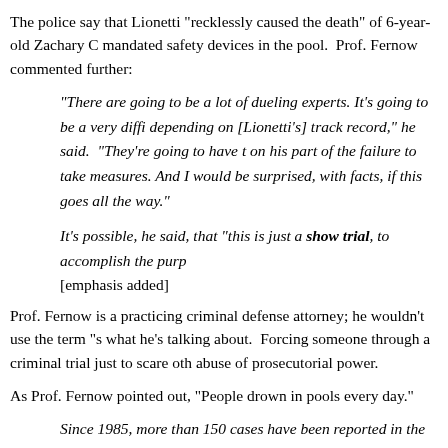The police say that Lionetti "recklessly caused the death" of 6-year-old Zachary C mandated safety devices in the pool.  Prof. Fernow commented further:
"There are going to be a lot of dueling experts. It's going to be a very diffi depending on [Lionetti's] track record," he said.  "They're going to have t on his part of the failure to take measures. And I would be surprised, with facts, if this goes all the way."
It's possible, he said, that "this is just a show trial, to accomplish the purp [emphasis added]
Prof. Fernow is a practicing criminal defense attorney; he wouldn't use the term "s what he's talking about.  Forcing someone through a criminal trial just to scare oth abuse of prosecutorial power.
As Prof. Fernow pointed out, "People drown in pools every day."
Since 1985, more than 150 cases have been reported in the U.S. of swimm entrapments, leading to at least 48 deaths and many serious injuries, inclu of children and adults, according to a lawsuit filed by Zachary's parents.
In a statement released Monday, the couple said they hoped that filing cri